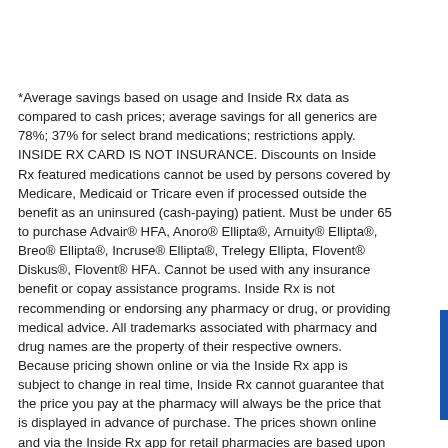*Average savings based on usage and Inside Rx data as compared to cash prices; average savings for all generics are 78%; 37% for select brand medications; restrictions apply. INSIDE RX CARD IS NOT INSURANCE. Discounts on Inside Rx featured medications cannot be used by persons covered by Medicare, Medicaid or Tricare even if processed outside the benefit as an uninsured (cash-paying) patient. Must be under 65 to purchase Advair® HFA, Anoro® Ellipta®, Arnuity® Ellipta®, Breo® Ellipta®, Incruse® Ellipta®, Trelegy Ellipta, Flovent® Diskus®, Flovent® HFA. Cannot be used with any insurance benefit or copay assistance programs. Inside Rx is not recommending or endorsing any pharmacy or drug, or providing medical advice. All trademarks associated with pharmacy and drug names are the property of their respective owners. Because pricing shown online or via the Inside Rx app is subject to change in real time, Inside Rx cannot guarantee that the price you pay at the pharmacy will always be the price that is displayed in advance of purchase. The prices shown online and via the Inside Rx app for retail pharmacies are based upon the quantity/days supply of a particular medication. Prices shown for retail pharmacies are based on a 30 day supply for the quantity